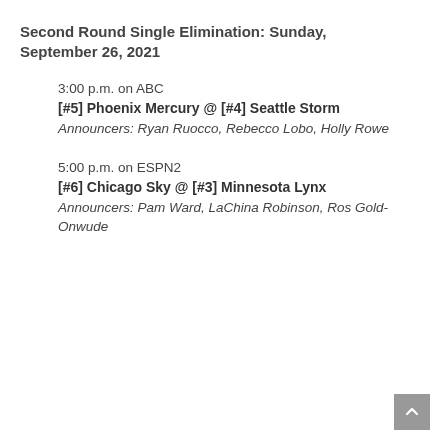Second Round Single Elimination: Sunday, September 26, 2021
3:00 p.m. on ABC
[#5] Phoenix Mercury @ [#4] Seattle Storm
Announcers: Ryan Ruocco, Rebecco Lobo, Holly Rowe
5:00 p.m. on ESPN2
[#6] Chicago Sky @ [#3] Minnesota Lynx
Announcers: Pam Ward, LaChina Robinson, Ros Gold-Onwude